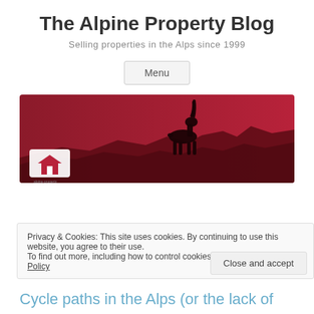The Alpine Property Blog
Selling properties in the Alps since 1999
Menu
[Figure (photo): Red-toned banner image showing a mountain ibex silhouette on rocky terrain against a dark red sky, with the alpine-property logo in the lower left corner.]
TAG ARCHIVED:YCLE PATHS IN THE ALPS
Privacy & Cookies: This site uses cookies. By continuing to use this website, you agree to their use.
To find out more, including how to control cookies, see here: Cookie Policy
Close and accept
Cycle paths in the Alps (or the lack of